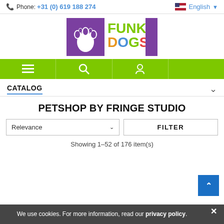Phone: +31 (0) 619 188 274  English
[Figure (logo): Funky Dogs Wholesale logo — purple square with white paw print, 'FUNKY DOGS' text in multicolor letters, 'WHOLESALE' in purple vertical band]
[Figure (infographic): Green navigation bar with hamburger menu icon, search icon, and user/account icon]
CATALOG
PETSHOP BY FRINGE STUDIO
Relevance
FILTER
Showing 1–52 of 176 item(s)
We use cookies. For more information, read our privacy policy.